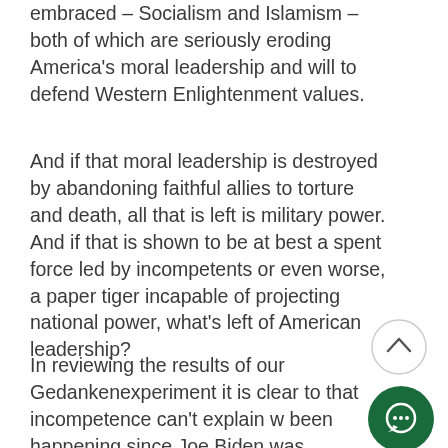embraced – Socialism and Islamism – both of which are seriously eroding America's moral leadership and will to defend Western Enlightenment values.
And if that moral leadership is destroyed by abandoning faithful allies to torture and death, all that is left is military power. And if that is shown to be at best a spent force led by incompetents or even worse, a paper tiger incapable of projecting national power, what's left of American leadership?
In reviewing the results of our Gedankenexperiment it is clear to that incompetence can't explain w been happening since Joe Biden was